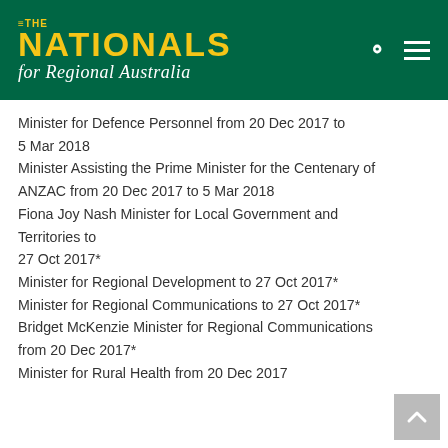[Figure (logo): The Nationals for Regional Australia logo — yellow bold text on dark green background with white italic subtitle and header icons (search, menu)]
Minister for Defence Personnel from 20 Dec 2017 to 5 Mar 2018
Minister Assisting the Prime Minister for the Centenary of ANZAC from 20 Dec 2017 to 5 Mar 2018
Fiona Joy Nash Minister for Local Government and Territories to 27 Oct 2017*
Minister for Regional Development to 27 Oct 2017*
Minister for Regional Communications to 27 Oct 2017*
Bridget McKenzie Minister for Regional Communications from 20 Dec 2017*
Minister for Rural Health from 20 Dec 2017